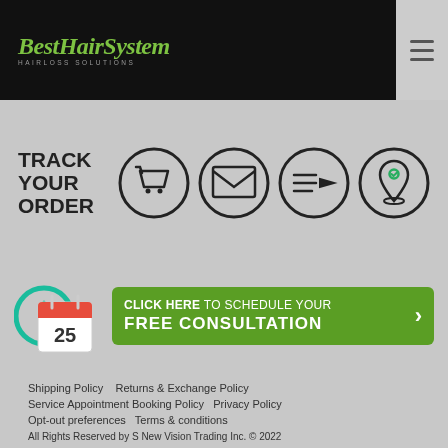[Figure (logo): BestHairSystem logo with green italic text and 'HAIRLOSS SOLUTIONS' subtitle on black background]
[Figure (infographic): Track Your Order section with shopping cart, email, fast-forward arrow, and location pin icons in circles]
[Figure (infographic): Calendar icon with date 25 next to green consultation booking button]
CLICK HERE TO SCHEDULE YOUR FREE CONSULTATION
Shipping Policy   Returns & Exchange Policy   Service Appointment Booking Policy   Privacy Policy   Opt-out preferences   Terms & conditions   All Rights Reserved by S New Vision Trading Inc. © 2022